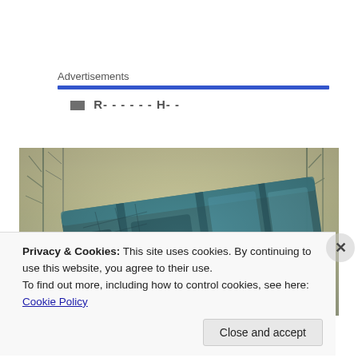Advertisements
[Figure (photo): A vintage-style polaroid photograph showing teal/blue playground equipment (swing set) at an angle, with bare winter trees in the background and a pale sky. The photo has a washed-out, retro color tone.]
Privacy & Cookies: This site uses cookies. By continuing to use this website, you agree to their use.
To find out more, including how to control cookies, see here: Cookie Policy
Close and accept